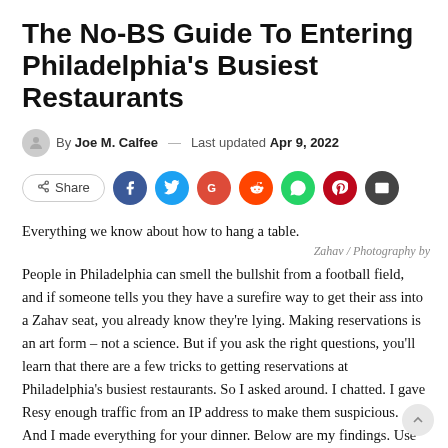The No-BS Guide To Entering Philadelphia's Busiest Restaurants
By Joe M. Calfee — Last updated Apr 9, 2022
[Figure (infographic): Social share buttons row: Share button, Facebook, Twitter, Google+, Reddit, WhatsApp, Pinterest, Email icons]
Everything we know about how to hang a table.
Zahav / Photography by
People in Philadelphia can smell the bullshit from a football field, and if someone tells you they have a surefire way to get their ass into a Zahav seat, you already know they're lying. Making reservations is an art form – not a science. But if you ask the right questions, you'll learn that there are a few tricks to getting reservations at Philadelphia's busiest restaurants. So I asked around. I chatted. I gave Resy enough traffic from an IP address to make them suspicious. And I made everything for your dinner. Below are my findings. Use these tips to book a